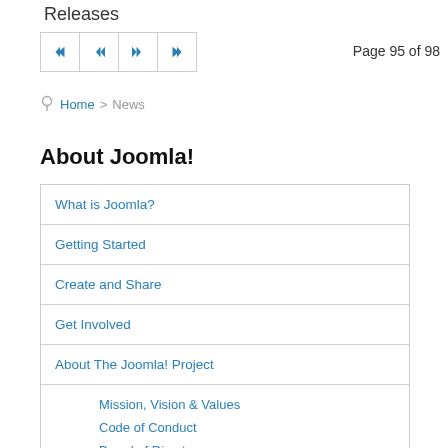Releases
Page 95 of 98
Home > News
About Joomla!
What is Joomla?
Getting Started
Create and Share
Get Involved
About The Joomla! Project
Mission, Vision & Values
Code of Conduct
Board of Directors